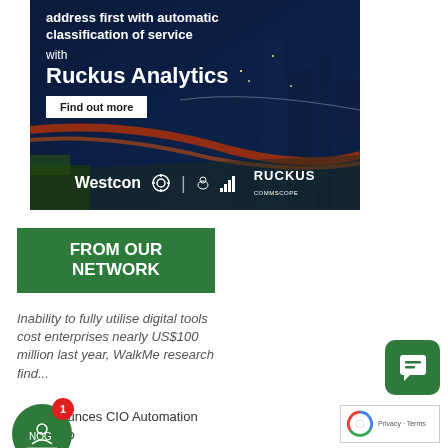[Figure (illustration): Advertisement banner for Ruckus Analytics by Westcon and Ruckus/CommScope. Dark blue background with city night scene, glowing light trails. Text: 'address first with automatic classification of service with Ruckus Analytics Find out more'. Westcon and Ruckus CommScope logos at bottom.]
FROM OUR NETWORK
Inability to fully utilise digital tools cost enterprises nearly US$100 million last year, WalkMe research find...
...h announces CIO Automation Council to